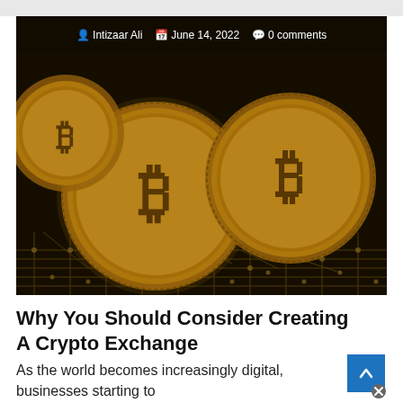[Figure (photo): Bitcoin gold coins resting on a circuit board, photographed from above. Overlaid text shows author 'Intizaar Ali', date 'June 14, 2022', and '0 comments'.]
Why You Should Consider Creating A Crypto Exchange
As the world becomes increasingly digital, businesses starting to